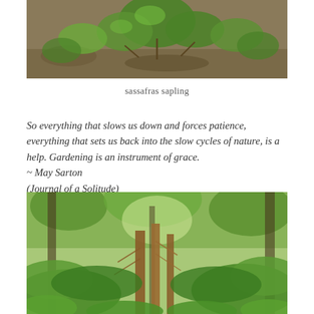[Figure (photo): Photo of a sassafras sapling with green leaves on forest floor with leaf litter]
sassafras sapling
So everything that slows us down and forces patience, everything that sets us back into the slow cycles of nature, is a help. Gardening is an instrument of grace.
~ May Sarton
(Journal of a Solitude)
[Figure (photo): Photo of a lush green forest with ferns and tall trees, brown dried fern fronds visible in center]